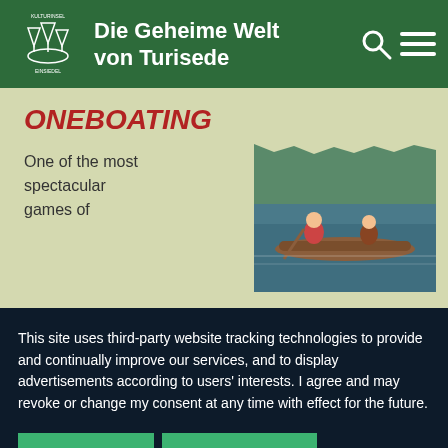Die Geheime Welt von Turisede
ONEBOATING
One of the most spectacular games of
[Figure (photo): Two people in a canoe on a river, with a log visible in the water]
This site uses third-party website tracking technologies to provide and continually improve our services, and to display advertisements according to users' interests. I agree and may revoke or change my consent at any time with effect for the future.
DENY   ACCEPT   MORE
Powered by usercentrics & eRecht24